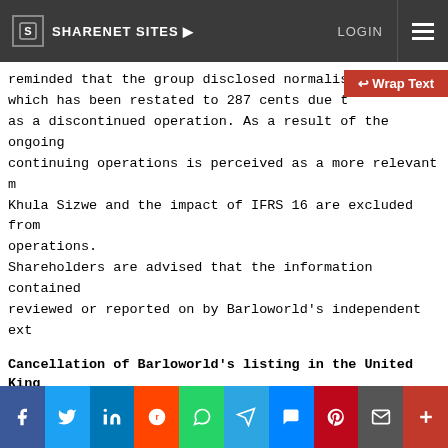SHARENET SITES  LOGIN
reminded that the group disclosed normalised HEPS of 290 cents which has been restated to 287 cents due to the classification as a discontinued operation. As a result of the ongoing, continuing operations is perceived as a more relevant measure. Khula Sizwe and the impact of IFRS 16 are excluded from continuing operations.
Shareholders are advised that the information contained has not been reviewed or reported on by Barloworld's independent external auditors.
Cancellation of Barloworld's listing in the United Kingdom
Following a determination by the directors of the company that the trading and liquidity of the ordinary shares on the London Stock Exchange ("London Stock Exchange"), there was no visible benefit in maintaining the listing on the London Stock Exchange, Barloworld cancelled its listing of its shares from the Standard Segment of the Official List and ceased trading on the London Stock Exchange. The company is currently primary listed on the JSE.
f   t   in   reddit   whatsapp   telegram   messenger   pinterest   email   +